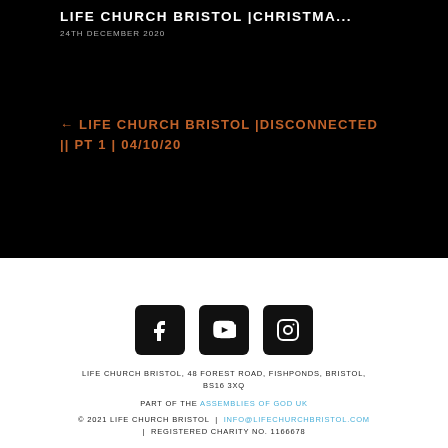LIFE CHURCH BRISTOL |CHRISTMA...
24TH DECEMBER 2020
← LIFE CHURCH BRISTOL |DISCONNECTED || PT 1 | 04/10/20
[Figure (infographic): Social media icons: Facebook, YouTube, Instagram in black rounded square buttons]
LIFE CHURCH BRISTOL, 48 FOREST ROAD, FISHPONDS, BRISTOL, BS16 3XQ
PART OF THE ASSEMBLIES OF GOD UK
© 2021 LIFE CHURCH BRISTOL | INFO@LIFECHURCHBRISTOL.COM | REGISTERED CHARITY NO. 1166678